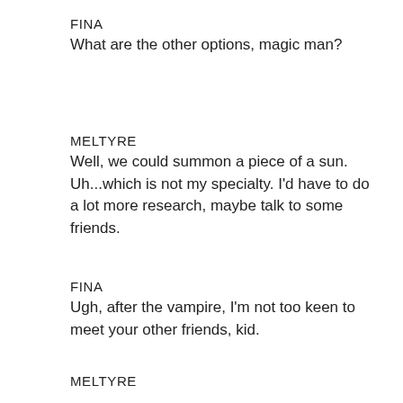FINA
What are the other options, magic man?
MELTYRE
Well, we could summon a piece of a sun. Uh...which is not my specialty. I'd have to do a lot more research, maybe talk to some friends.
FINA
Ugh, after the vampire, I'm not too keen to meet your other friends, kid.
MELTYRE